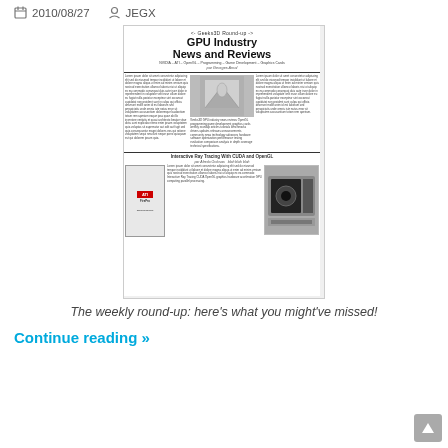2010/08/27  JEGX
[Figure (screenshot): Thumbnail of Geeks3D Round-up GPU Industry News and Reviews newsletter page showing articles about OpenGL, NVIDIA, ATI, ray tracing with CUDA, with a newspaper-style multi-column layout.]
The weekly round-up: here's what you might've missed!
Continue reading »